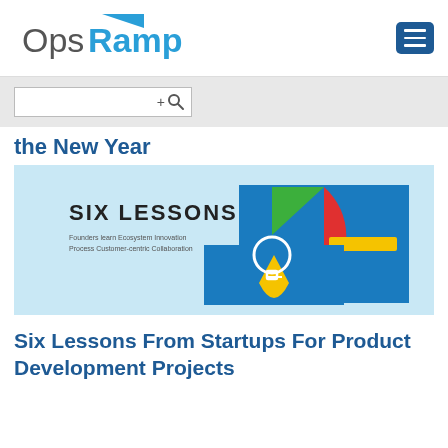OpsRamp
[Figure (screenshot): Search bar input field with +magnifier icon on grey background]
the New Year
[Figure (illustration): Six Lessons infographic with colorful geometric shapes (red semicircle, blue rectangle, green shapes, yellow shape) on light blue background with text 'SIX LESSONS' and subtitle keywords.]
Six Lessons From Startups For Product Development Projects